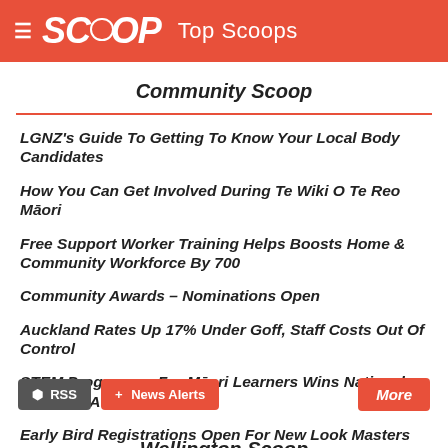SCOOP Top Scoops
Community Scoop
LGNZ's Guide To Getting To Know Your Local Body Candidates
How You Can Get Involved During Te Wiki O Te Reo Māori
Free Support Worker Training Helps Boosts Home & Community Workforce By 700
Community Awards – Nominations Open
Auckland Rates Up 17% Under Goff, Staff Costs Out Of Control
STEM Programme For Māori Learners Wins National Diversity Award
Early Bird Registrations Open For New Look Masters Games
RSS  News Alerts  More
Wellington Scoop